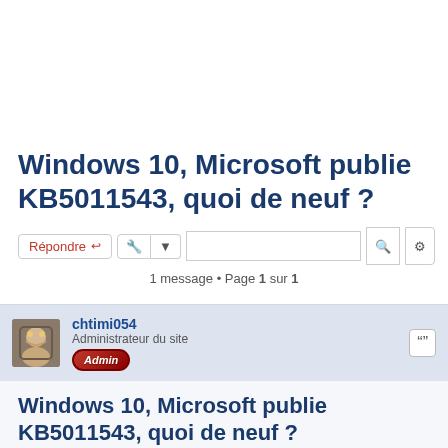Windows 10, Microsoft publie KB5011543, quoi de neuf ?
1 message • Page 1 sur 1
chtimi054
Administrateur du site
Admin
Windows 10, Microsoft publie KB5011543, quoi de neuf ?
mer. 16 mars 2022 07:02